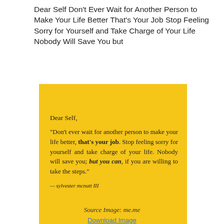Dear Self Don’t Ever Wait for Another Person to Make Your Life Better That’s Your Job Stop Feeling Sorry for Yourself and Take Charge of Your Life Nobody Will Save You but
[Figure (illustration): Yellow square card with quote text in black serif font. Header says 'Dear Self,' followed by the quote: "“Don’t ever wait for another person to make your life better, that’s your job. Stop feeling sorry for yourself and take charge of your life. Nobody will save you; but you can, if you are willing to take the steps.”" Attributed to — sylvester mcnutt III]
Source Image: me.me
Download Image